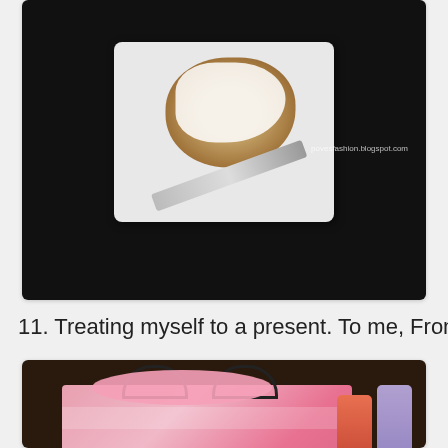[Figure (photo): Photo of a frosted cinnamon roll on a white square plate with a fork, on a dark background. Watermark reads 'povesfashion.blogspot.com']
11. Treating myself to a present. To me, From me lol
[Figure (photo): Photo of a Victoria's Secret pink striped shopping bag with tissue paper and beauty products visible inside, on a dark background]